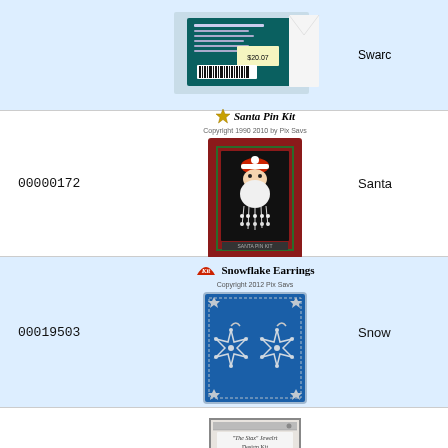[Figure (photo): Partial top row showing a teal/dark green packaged kit with barcode, cut off at top. Blue background row.]
00000172
[Figure (photo): Santa Pin Kit product image: red bordered card with Santa face made of beads on black background. Above image shows gold star logo and 'Santa Pin Kit' text.]
Santa
00019503
[Figure (photo): Snowflake Earrings kit: blue card with two snowflake-shaped beaded earrings on silver/star border. Kit label in red italic. Title 'Snowflake Earrings Copyright 2012 Pix Savs' above.]
Snow
00000689
[Figure (photo): The Stax Jewelrt Design Kit product: framed package with decorative pendant on wooden panel background, 'Fire Stax Beads' branding at bottom.]
The S Kit